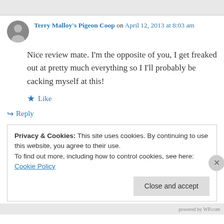Terry Malloy's Pigeon Coop on April 12, 2013 at 8:03 am
Nice review mate. I'm the opposite of you, I get freaked out at pretty much everything so I I'll probably be cacking myself at this!
★ Like
↪ Reply
Privacy & Cookies: This site uses cookies. By continuing to use this website, you agree to their use. To find out more, including how to control cookies, see here: Cookie Policy
Close and accept